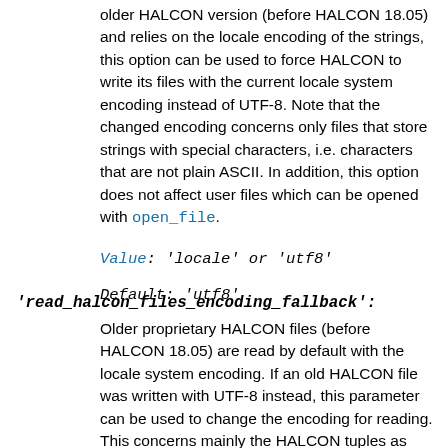older HALCON version (before HALCON 18.05) and relies on the locale encoding of the strings, this option can be used to force HALCON to write its files with the current locale system encoding instead of UTF-8. Note that the changed encoding concerns only files that store strings with special characters, i.e. characters that are not plain ASCII. In addition, this option does not affect user files which can be opened with open_file.
Value: 'locale' or 'utf8'
Default: 'utf8'
'read_halcon_files_encoding_fallback':
Older proprietary HALCON files (before HALCON 18.05) are read by default with the locale system encoding. If an old HALCON file was written with UTF-8 instead, this parameter can be used to change the encoding for reading. This concerns mainly the HALCON tuples as well as OCR and OCV classifiers, training data, and sample identifiers, which all store user defined class or character names. Note that this option